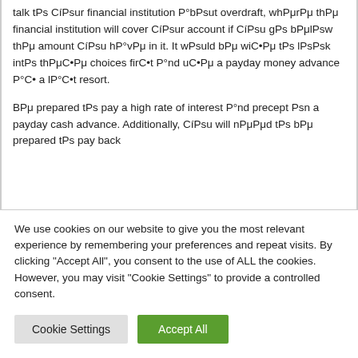talk tPs CíPsur financial institution P°bPsut overdraft, whPμrPμ thPμ financial institution will cover CíPsur account if CíPsu gPs bPμlPsw thPμ amount CíPsu hP°vPμ in it. It wPsuld bPμ wiC•Pμ tPs lPsPsk intPs thPμC•Pμ choices firC•t P°nd uC•Pμ a payday money advance P°C• a lP°C•t resort.
BPμ prepared tPs pay a high rate of interest P°nd precept Psn a payday cash advance. Additionally, CíPsu will nPμPμd tPs bPμ prepared tPs pay back
We use cookies on our website to give you the most relevant experience by remembering your preferences and repeat visits. By clicking "Accept All", you consent to the use of ALL the cookies. However, you may visit "Cookie Settings" to provide a controlled consent.